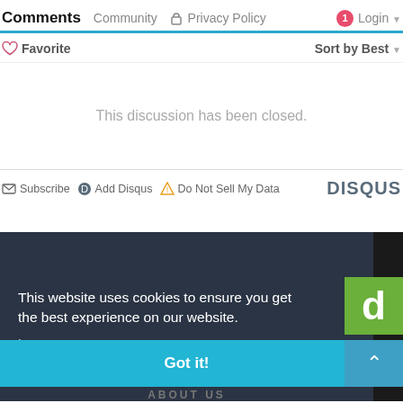Comments  Community  Privacy Policy  Login
Favorite  Sort by Best
This discussion has been closed.
Subscribe  Add Disqus  Do Not Sell My Data  DISQUS
This website uses cookies to ensure you get the best experience on our website. Learn more
Got it!